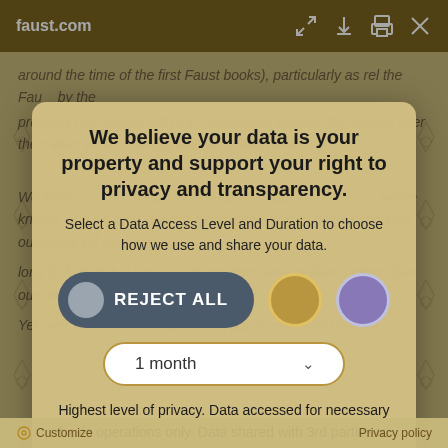faust.com
around the time of the first Faust books), particularly as rel... the Faus... probably not familiar with the Copernican system, the debate over the nature of the cosmos was very much alive.
We believe your data is your property and support your right to privacy and transparency.
Select a Data Access Level and Duration to choose how we use and share your data.
[Figure (infographic): Privacy consent UI with REJECT ALL toggle button (dark blue-grey pill with grey circle), a gold circle option, a purple circle option, and a '1 month' dropdown selector.]
Highest level of privacy. Data accessed for necessary basic operations only. Data shared with 3rd parties to ensure the site is secure and works on your device
Save my preferences
Yet over time, heaven has been a place more and more of
Customize    Privacy policy